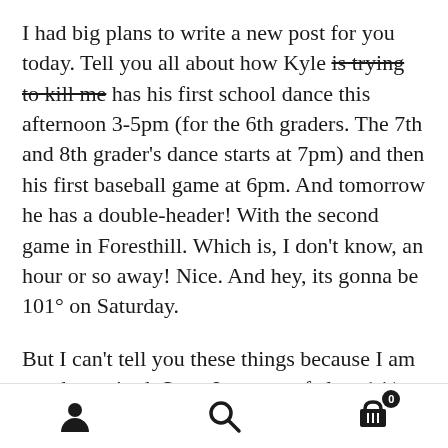I had big plans to write a new post for you today. Tell you all about how Kyle is trying to kill me has his first school dance this afternoon 3-5pm (for the 6th graders. The 7th and 8th grader's dance starts at 7pm) and then his first baseball game at 6pm. And tomorrow he has a double-header! With the second game in Foresthill. Which is, I don't know, an hour or so away! Nice. And hey, its gonna be 101° on Saturday.
But I can't tell you these things because I am too damn tired. Sure, I got out of class 1 ½ hours early last night, but I had caffeinated myself to be up
[navigation bar with person icon, search icon, cart icon with badge 0]